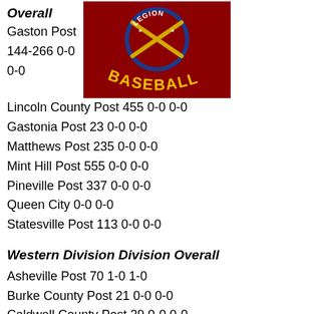Overall
[Figure (logo): American Legion Baseball logo on dark red background with crossed bats and text BASEBALL]
Gaston Post 144-266 0-0 0-0
Lincoln County Post 455 0-0 0-0
Gastonia Post 23 0-0 0-0
Matthews Post 235 0-0 0-0
Mint Hill Post 555 0-0 0-0
Pineville Post 337 0-0 0-0
Queen City 0-0 0-0
Statesville Post 113 0-0 0-0
Western Division Division Overall
Asheville Post 70 1-0 1-0
Burke County Post 21 0-0 0-0
Caldwell County Post 29 0-0 0-0
Cherryville Post 100 0-0 0-0
Cleveland County Post 82-155 0-0 0-0
Henderson County Post 77 0-0 0-0